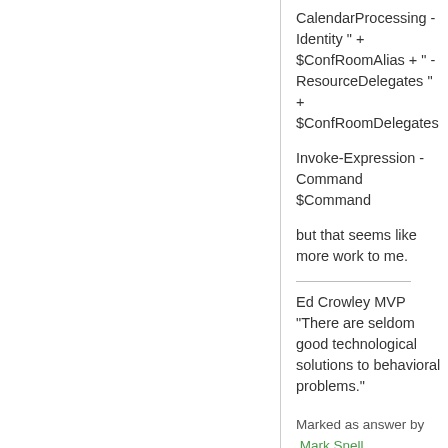CalendarProcessing -Identity " + $ConfRoomAlias + " -ResourceDelegates " + $ConfRoomDelegates
Invoke-Expression -Command $Command
but that seems like more work to me.
Ed Crowley MVP "There are seldom good technological solutions to behavioral problems."
Marked as answer by Mark Snell Wednesday, January 25, 2012 12:11 PM
Tuesday, January 24, 2012 4:13 PM